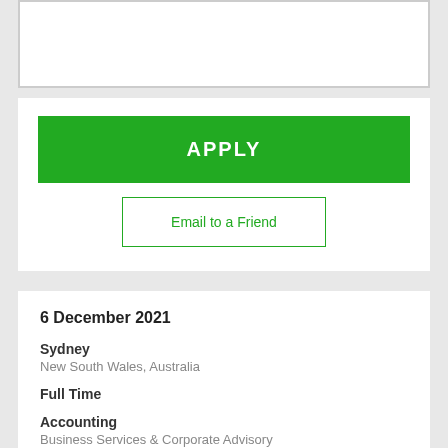[Figure (other): White box with gray border, top section of a web page]
APPLY
Email to a Friend
6 December 2021
Sydney
New South Wales, Australia
Full Time
Accounting
Business Services & Corporate Advisory